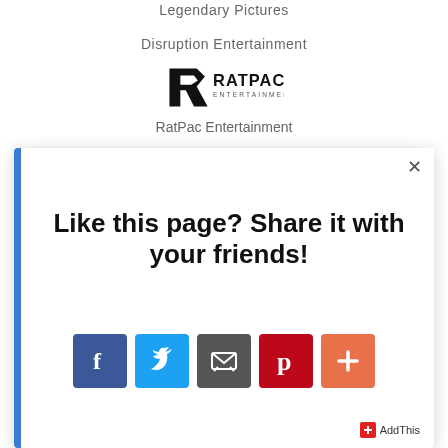Legendary Pictures
Disruption Entertainment
[Figure (logo): RatPac Entertainment logo — stylized R mark with RATPAC ENTERTAINMENT wordmark]
RatPac Entertainment
[Figure (screenshot): Modal popup overlay with close button (×), blue left bar, heading 'Like this page? Share it with your friends!', social share icons (Facebook, Twitter, Email, Pinterest, More+), and AddThis branding in bottom right.]